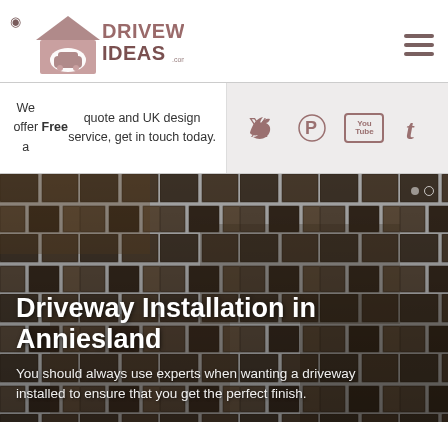Driveway Ideas logo header with navigation
We offer a Free quote and UK design service, get in touch today.
[Figure (logo): Social media icons: Twitter, Pinterest, YouTube, Tumblr on grey background]
Driveway Installation in Anniesland
You should always use experts when wanting a driveway installed to ensure that you get the perfect finish.